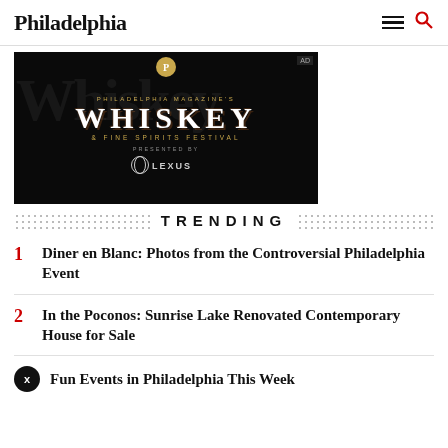Philadelphia
[Figure (illustration): Philadelphia Magazine's Whiskey & Fine Spirits Festival presented by Lexus advertisement banner on black background with gold and white lettering and watermark text]
TRENDING
1. Diner en Blanc: Photos from the Controversial Philadelphia Event
2. In the Poconos: Sunrise Lake Renovated Contemporary House for Sale
Fun Events in Philadelphia This Week